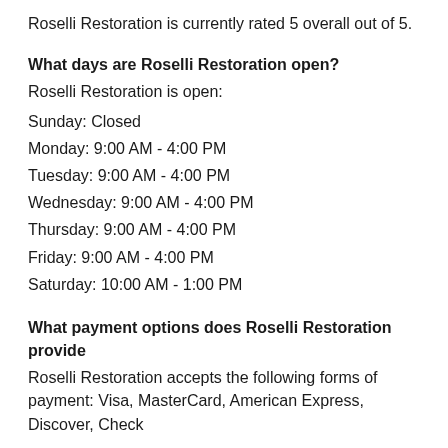Roselli Restoration is currently rated 5 overall out of 5.
What days are Roselli Restoration open?
Roselli Restoration is open:
Sunday: Closed
Monday: 9:00 AM - 4:00 PM
Tuesday: 9:00 AM - 4:00 PM
Wednesday: 9:00 AM - 4:00 PM
Thursday: 9:00 AM - 4:00 PM
Friday: 9:00 AM - 4:00 PM
Saturday: 10:00 AM - 1:00 PM
What payment options does Roselli Restoration provide
Roselli Restoration accepts the following forms of payment: Visa, MasterCard, American Express, Discover, Check